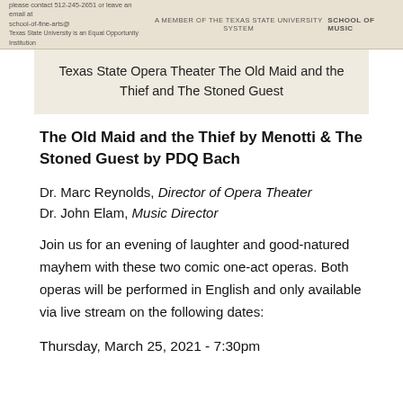[Figure (other): Header image of Texas State University School of Music letterhead with university logo and text]
Texas State Opera Theater The Old Maid and the Thief and The Stoned Guest
The Old Maid and the Thief by Menotti & The Stoned Guest by PDQ Bach
Dr. Marc Reynolds, Director of Opera Theater
Dr. John Elam, Music Director
Join us for an evening of laughter and good-natured mayhem with these two comic one-act operas. Both operas will be performed in English and only available via live stream on the following dates:
Thursday, March 25, 2021 - 7:30pm